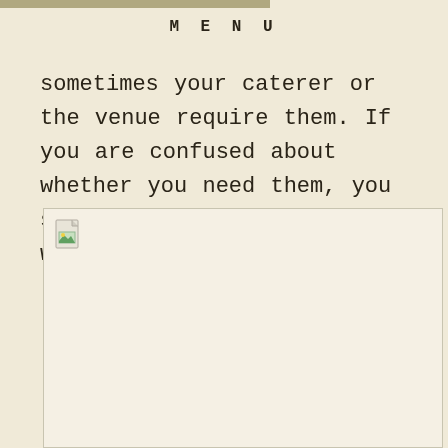MENU
sometimes your caterer or the venue require them. If you are confused about whether you need them, you should consult with your wedding planner.
[Figure (photo): Placeholder image box with broken image icon in top-left corner]